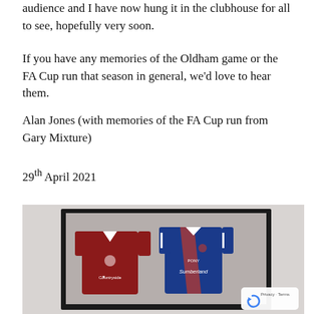audience and I have now hung it in the clubhouse for all to see, hopefully very soon.
If you have any memories of the Oldham game or the FA Cup run that season in general, we'd love to hear them.
Alan Jones (with memories of the FA Cup run from Gary Mixture)
29th April 2021
[Figure (photo): A framed display containing two football jerseys — a red jersey on the left with a Countryside sponsor logo, and a blue Sunderland jersey on the right with a Pony sponsor logo — mounted on a wall.]